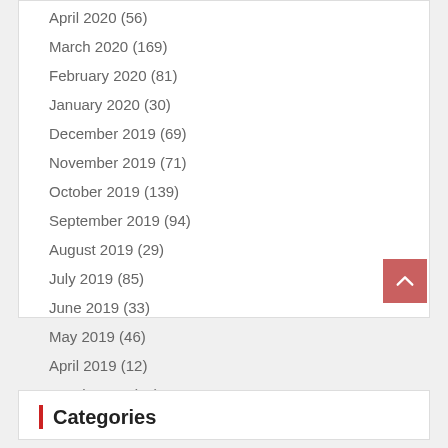April 2020 (56)
March 2020 (169)
February 2020 (81)
January 2020 (30)
December 2019 (69)
November 2019 (71)
October 2019 (139)
September 2019 (94)
August 2019 (29)
July 2019 (85)
June 2019 (33)
May 2019 (46)
April 2019 (12)
March 2019 (88)
Categories